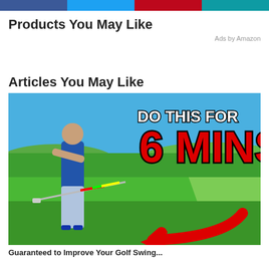[Figure (other): Social share buttons bar: Facebook (blue), Twitter (light blue), Pinterest (red), LinkedIn (teal)]
Products You May Like
Ads by Amazon
Articles You May Like
[Figure (photo): Golf instruction thumbnail image showing a man in a blue polo shirt holding a golf club on a green golf course. Bold text overlay reads 'DO THIS FOR 6 MINS' with a large red arrow pointing left.]
Guaranteed to Improve Your Golf Swing...